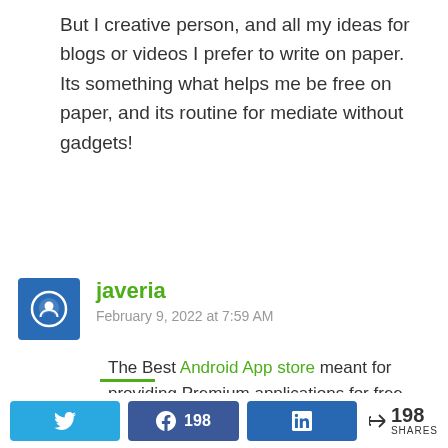But I creative person, and all my ideas for blogs or videos I prefer to write on paper.
Its something what helps me be free on paper, and its routine for mediate without gadgets!
javeria
February 9, 2022 at 7:59 AM
The Best Android App store meant for providing Premium applications for free.
198 SHARES